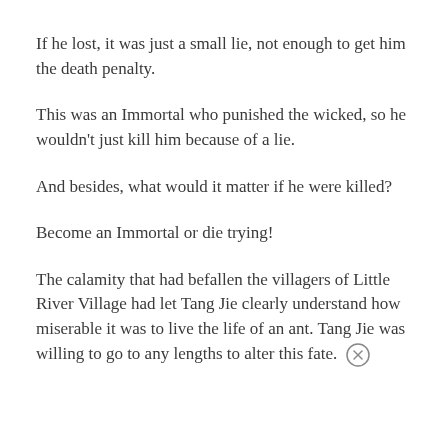If he lost, it was just a small lie, not enough to get him the death penalty.
This was an Immortal who punished the wicked, so he wouldn't just kill him because of a lie.
And besides, what would it matter if he were killed?
Become an Immortal or die trying!
The calamity that had befallen the villagers of Little River Village had let Tang Jie clearly understand how miserable it was to live the life of an ant. Tang Jie was willing to go to any lengths to alter this fate.